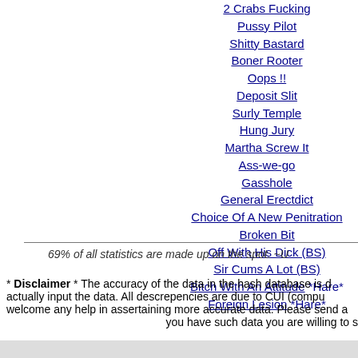2 Crabs Fucking
Pussy Pilot
Shitty Bastard
Boner Rooter
Oops !!
Deposit Slit
Surly Temple
Hung Jury
Martha Screw It
Ass-we-go
Gasshole
General Erectdict
Choice Of A New Penitration
Broken Bit
Off With His Dick (BS)
Sir Cums A Lot (BS)
Bitch With An Attitude *Hare*
Foreign Lesion *Hare*
69% of all statistics are made up on the spot. ~U
* Disclaimer * The accuracy of the data in the hash database is d actually input the data. All descrepencies are due to CUI (compu welcome any help in assertaining more accurate data. Please send a you have such data you are willing to s